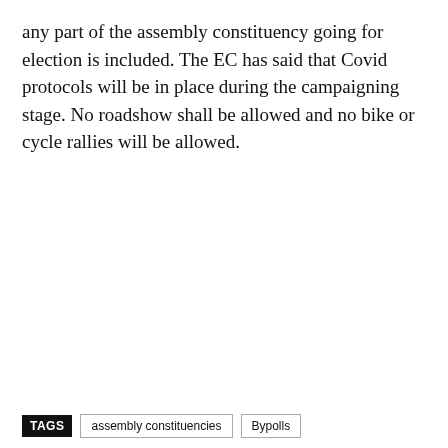any part of the assembly constituency going for election is included. The EC has said that Covid protocols will be in place during the campaigning stage. No roadshow shall be allowed and no bike or cycle rallies will be allowed.
TAGS   assembly constituencies   Bypoll s